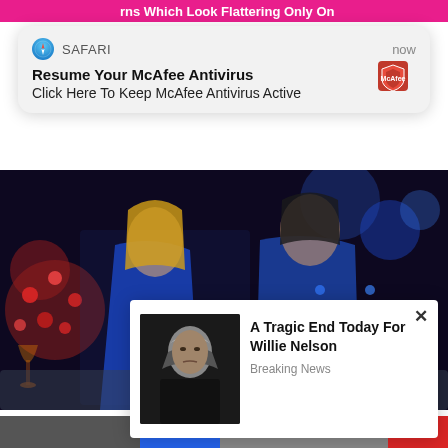rns Which Look Flattering Only On
[Figure (screenshot): Safari browser push notification card reading 'Resume Your McAfee Antivirus' / 'Click Here To Keep McAfee Antivirus Active' with McAfee logo, timestamped 'now']
[Figure (photo): Two people sitting on a couch in a dark TV studio set; a woman in a blue dress with blonde hair and a man in a blue shirt holding a drink]
Herbeauty
The Most Swoon-worthy Pairs From Rom-coms
[Figure (screenshot): Pop-up ad card with photo of an elderly man in black clothing and text: 'A Tragic End Today For Willie Nelson' / 'Breaking News', with an X close button]